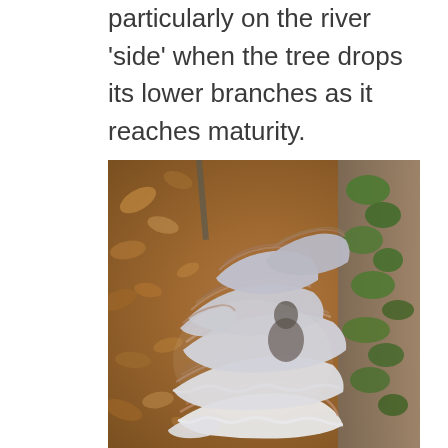particularly on the river 'side' when the tree drops its lower branches as it reaches maturity.
[Figure (photo): Close-up photograph of layered bracket fungi (turkey tail mushrooms) growing on a mossy tree trunk, with brown autumn leaves blurred in the background. The fungi display concentric banded patterns in grey, white, and reddish-brown tones.]